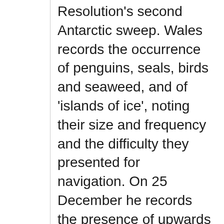Resolution's second Antarctic sweep. Wales records the occurrence of penguins, seals, birds and seaweed, and of 'islands of ice', noting their size and frequency and the difficulty they presented for navigation. On 25 December he records the presence of upwards of 200 icebergs, which led him to suggest that land might be near [RGO 14/58: 76v]. On 16 December the cutter was hoisted out to collect ice for water; Wales keeps notes on the quality of the water...
Dates: 1773-12-01 - 1773-12-31